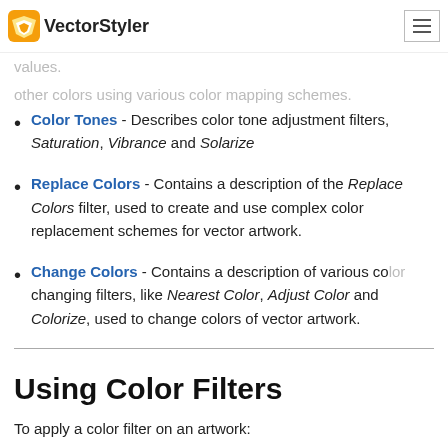VectorStyler
Map colors. Describes color filters that map colors to other colors using various color mapping schemes.
Color Tones - Describes color tone adjustment filters, Saturation, Vibrance and Solarize
Replace Colors - Contains a description of the Replace Colors filter, used to create and use complex color replacement schemes for vector artwork.
Change Colors - Contains a description of various color changing filters, like Nearest Color, Adjust Color and Colorize, used to change colors of vector artwork.
Using Color Filters
To apply a color filter on an artwork: